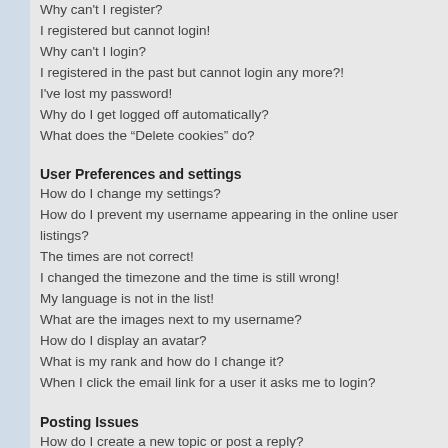Why can't I register?
I registered but cannot login!
Why can't I login?
I registered in the past but cannot login any more?!
I've lost my password!
Why do I get logged off automatically?
What does the “Delete cookies” do?
User Preferences and settings
How do I change my settings?
How do I prevent my username appearing in the online user listings?
The times are not correct!
I changed the timezone and the time is still wrong!
My language is not in the list!
What are the images next to my username?
How do I display an avatar?
What is my rank and how do I change it?
When I click the email link for a user it asks me to login?
Posting Issues
How do I create a new topic or post a reply?
How do I edit or delete a post?
How do I add a signature to my post?
How do I create a poll?
Why can't I add more poll options?
How do I edit or delete a poll?